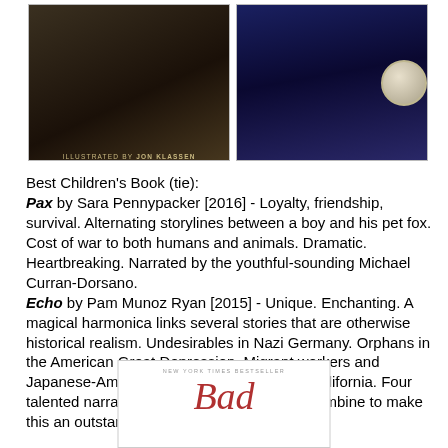[Figure (photo): Book cover of 'Pax' illustrated by Jon Klassen - dark toned cover with figures]
[Figure (photo): Book cover with dark blue/purple night scene and a medal (likely Newbery)]
Best Children's Book (tie):
Pax by Sara Pennypacker [2016] - Loyalty, friendship, survival. Alternating storylines between a boy and his pet fox. Cost of war to both humans and animals. Dramatic. Heartbreaking. Narrated by the youthful-sounding Michael Curran-Dorsano.
Echo by Pam Munoz Ryan [2015] - Unique. Enchanting. A magical harmonica links several stories that are otherwise historical realism. Undesirables in Nazi Germany. Orphans in the American Great Depression. Migrant workers and Japanese-Americans in post-Pearl Harbor California. Four talented narrators plus musical recordings combine to make this an outstanding audiobook.
[Figure (photo): Bottom of book cover showing 'NEW YORK TIMES BESTSELLER' and title 'Bad' in red italic text]